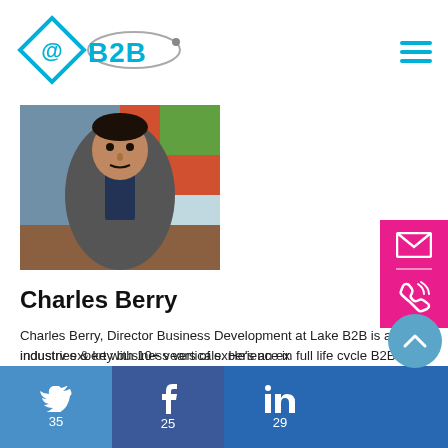[Figure (logo): @B2B company logo with diamond shape and satellite/orbit graphic]
[Figure (photo): Profile photo of Charles Berry, a man in a grey blazer seated at a desk]
Charles Berry
Charles Berry, Director Business Development at Lake B2B is an industry expert with 10+ years of experience in full life cycle B2B data-driven sales & marketing. He has a proven ability to foster relationships with C-suites & leaders across industries & key business verticals. He's an ex... and ...ity of multi-